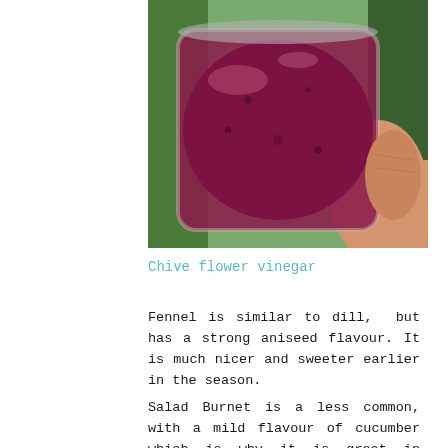[Figure (photo): A hand holding a glass jar filled with dark red/purple chive flower vinegar, photographed outdoors with green foliage in the background.]
Chive flower vinegar
Fennel is similar to dill,  but has a strong aniseed flavour. It is much nicer and sweeter earlier in the season.
Salad Burnet is a less common, with a mild flavour of cucumber which is why it is great in summery drinks